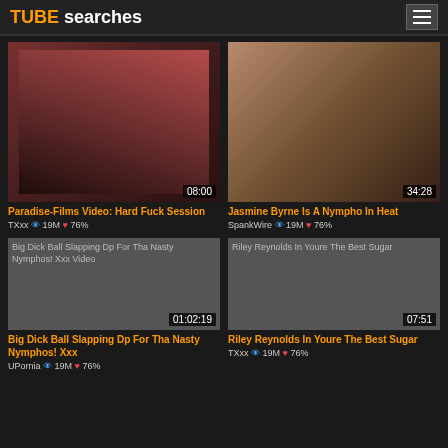TUBE searches
[Figure (photo): Thumbnail: woman in red outfit, duration 08:00]
[Figure (photo): Thumbnail: close-up shot, duration 34:28]
Paradise-Films Video: Hard Fuck Session
TXxx 👁 19M ❤ 76%
Jasmine Byrne Is A Nympho In Heat
SpankWire 👁 19M ❤ 76%
[Figure (photo): Thumbnail placeholder: Big Dick Ball Slapping Dp For Tha Nasty Nymphos! Xxx Video, duration 01:02:19]
[Figure (photo): Thumbnail placeholder: Riley Reynolds In Youre The Best Sugar, duration 07:51]
Big Dick Ball Slapping Dp For Tha Nasty Nymphos! Xxx
UPornia 👁 19M ❤ 76%
Riley Reynolds In Youre The Best Sugar
TXxx 👁 19M ❤ 76%